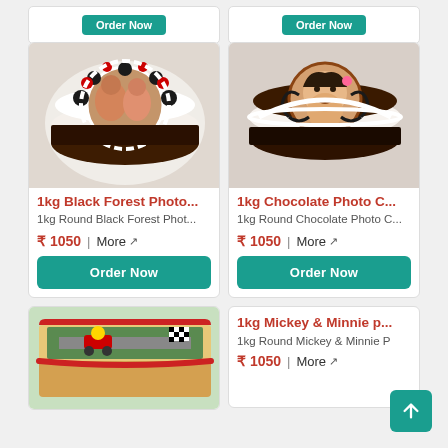[Figure (photo): Partial top strip showing two product cards with Order Now buttons]
[Figure (photo): 1kg Black Forest Photo Cake - round cake with photo of two people, black forest decoration with cherries and oreos]
1kg Black Forest Photo...
1kg Round Black Forest Phot...
₹ 1050  |  More ↗
Order Now
[Figure (photo): 1kg Chocolate Photo Cake - round cake with photo of baby girl, chocolate decoration with swirls]
1kg Chocolate Photo C...
1kg Round Chocolate Photo C...
₹ 1050  |  More ↗
Order Now
[Figure (photo): Mario Kart themed rectangular cake with racing track decoration]
1kg Mickey & Minnie p...
1kg Round Mickey & Minnie P
₹ 1050  |  More ↗